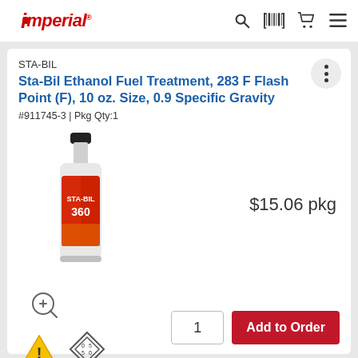Imperial
STA-BIL
Sta-Bil Ethanol Fuel Treatment, 283 F Flash Point (F), 10 oz. Size, 0.9 Specific Gravity
#911745-3 | Pkg Qty:1
[Figure (photo): Red STA-BIL 360 ethanol fuel treatment bottle, approximately 10 oz size with black cap]
$15.06 pkg
[Figure (other): Zoom/magnify icon (circle with plus and magnifying glass)]
[Figure (other): Warning triangle hazard icon and diamond GHS hazard symbol]
1
Add to Order